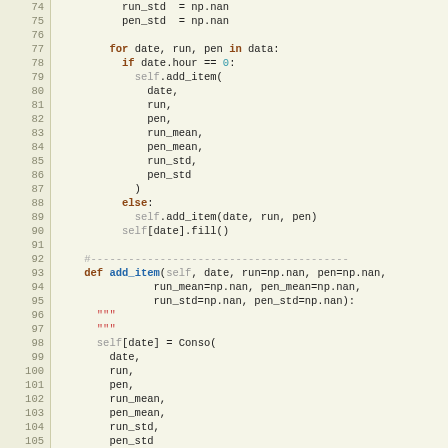[Figure (screenshot): Python source code listing showing lines 74-105 with syntax highlighting. Line numbers in left column on beige background. Code includes variable assignments, a for loop, conditional logic, and a function definition 'add_item'.]